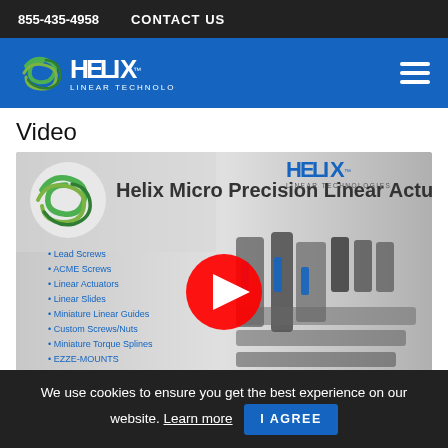855-435-4958   CONTACT US
[Figure (logo): Helix Linear Technologies logo in white on blue background with hamburger menu icon]
Video
[Figure (screenshot): YouTube video thumbnail for 'Helix Micro Precision Linear Actuat...' showing various linear actuators, lead screws, ACME screws, linear slides, miniature linear guides, custom screws/nuts, miniature torque splines, and EZZE-MOUNTS with a red YouTube play button overlay]
We use cookies to ensure you get the best experience on our website. Learn more  I AGREE